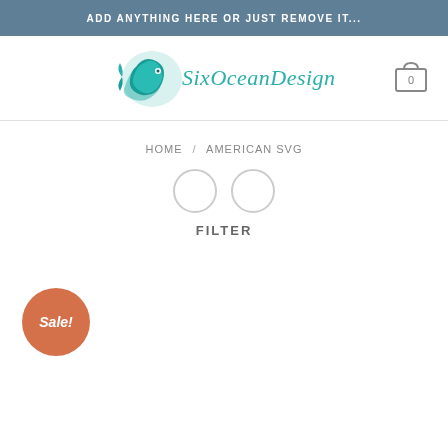ADD ANYTHING HERE OR JUST REMOVE IT...
[Figure (logo): SixOceanDesigns logo with teal wave and script text]
HOME / AMERICAN SVG
FILTER
Sale!